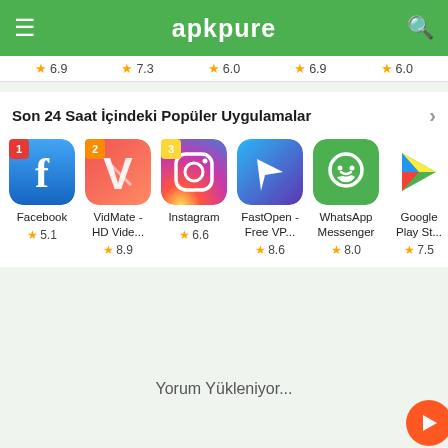apkpure
6.9  7.3  6.0  6.9  6.0
Son 24 Saat İçindeki Popüler Uygulamalar
[Figure (screenshot): App icons row: Facebook (5.1), VidMate - HD Vide... (8.9), Instagram (6.6), FastOpen - Free VP... (8.6), WhatsApp Messenger (8.0), Google Play St... (7.5)]
Yorum Yükleniyor...